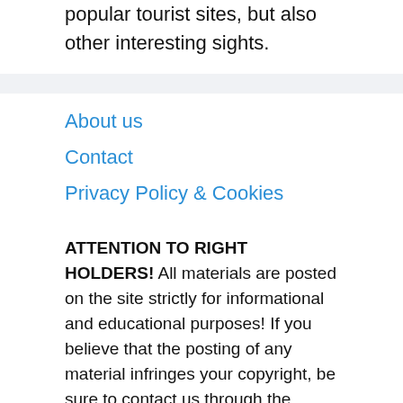popular tourist sites, but also other interesting sights.
About us
Contact
Privacy Policy & Cookies
ATTENTION TO RIGHT HOLDERS! All materials are posted on the site strictly for informational and educational purposes! If you believe that the posting of any material infringes your copyright, be sure to contact us through the contact form and your material will be removed!